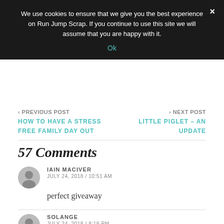We use cookies to ensure that we give you the best experience on Run Jump Scrap. If you continue to use this site we will assume that you are happy with it.
Ok
‹ PREVIOUS POST
HOW TO HAVE A STRESS FREE FAMILY DAY OUT
› NEXT POST
LITTLE PIGLET – AN UPDATE
57 Comments
IAIN MACIVER
JULY 24, 2018 / 10:51 AM
perfect giveaway
SOLANGE
JULY 24, 2018 / 8:19 PM